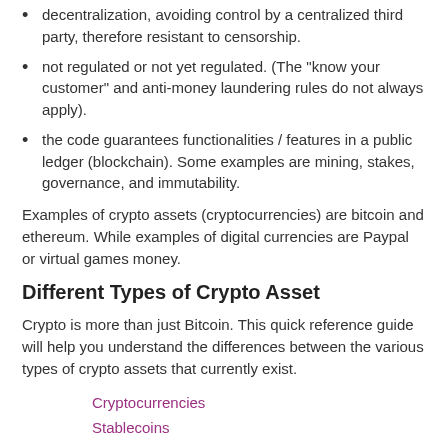decentralization, avoiding control by a centralized third party, therefore resistant to censorship.
not regulated or not yet regulated. (The "know your customer" and anti-money laundering rules do not always apply).
the code guarantees functionalities / features in a public ledger (blockchain). Some examples are mining, stakes, governance, and immutability.
Examples of crypto assets (cryptocurrencies) are bitcoin and ethereum. While examples of digital currencies are Paypal or virtual games money.
Different Types of Crypto Asset
Crypto is more than just Bitcoin. This quick reference guide will help you understand the differences between the various types of crypto assets that currently exist.
Cryptocurrencies
Stablecoins